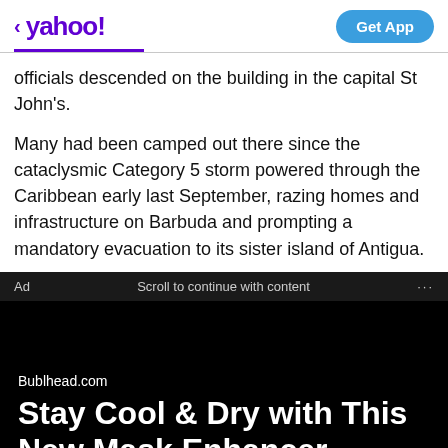< yahoo! | Get App
officials descended on the building in the capital St John's.
Many had been camped out there since the cataclysmic Category 5 storm powered through the Caribbean early last September, razing homes and infrastructure on Barbuda and prompting a mandatory evacuation to its sister island of Antigua.
Ad   Scroll to continue with content   ...
Bublhead.com
Stay Cool & Dry with This New Mask Enhancer